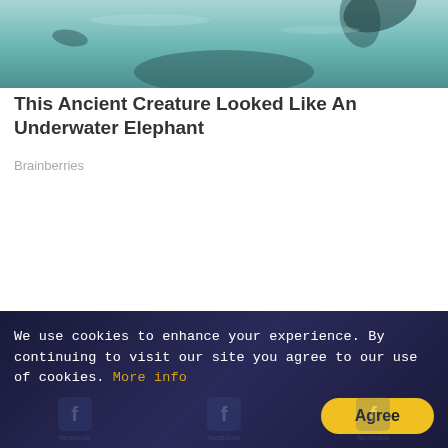[Figure (photo): Underwater photo showing an ancient creature resembling an underwater elephant, with teal/blue water]
This Ancient Creature Looked Like An Underwater Elephant
Brainberries
How To Wean Off Caffeine - Don't Let It Ruin Your Day
Herbeauty
We use cookies to enhance your experience. By continuing to visit our site you agree to our use of cookies. More info